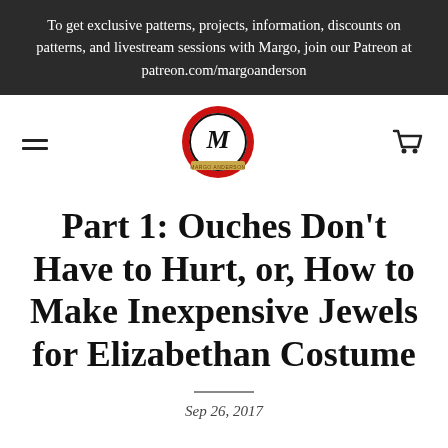To get exclusive patterns, projects, information, discounts on patterns, and livestream sessions with Margo, join our Patreon at patreon.com/margoanderson
[Figure (logo): Margo Anderson logo: circular red and black badge with stylized M in the center and a gold ribbon banner at the bottom]
Part 1: Ouches Don't Have to Hurt, or, How to Make Inexpensive Jewels for Elizabethan Costume
Sep 26, 2017